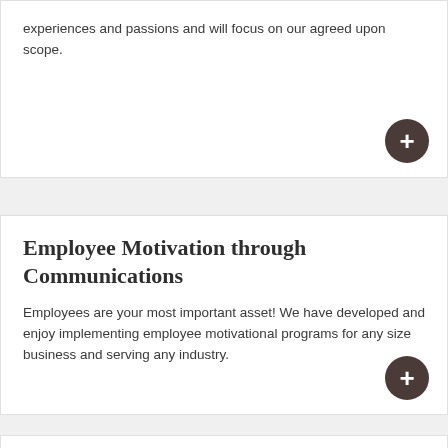experiences and passions and will focus on our agreed upon scope.
Employee Motivation through Communications
Employees are your most important asset! We have developed and enjoy implementing employee motivational programs for any size business and serving any industry.
Construction Advisor